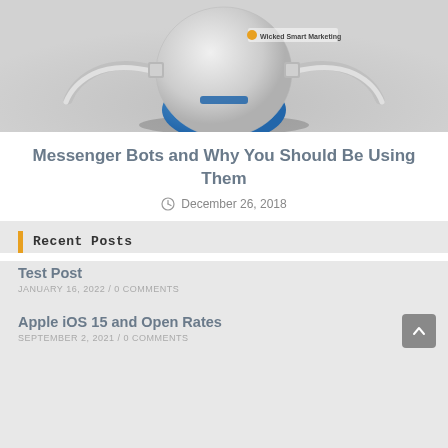[Figure (photo): A robot with a white and blue spherical body, metallic arms/hoses on the sides, photographed on a light grey background. A small logo reads 'Wicked Smart Marketing'.]
Messenger Bots and Why You Should Be Using Them
December 26, 2018
Recent Posts
Test Post
JANUARY 16, 2022 / 0 COMMENTS
Apple iOS 15 and Open Rates
SEPTEMBER 2, 2021 / 0 COMMENTS